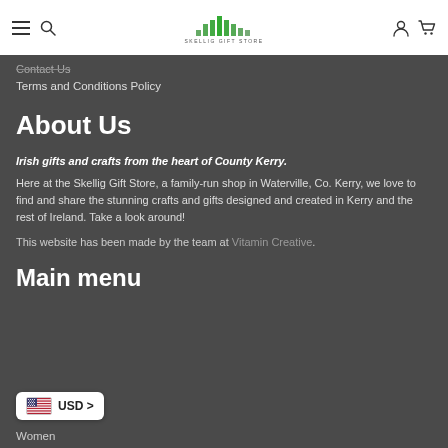Skellig Gift Store navigation bar with hamburger menu, search, logo, user icon, cart icon
Contact Us
Terms and Conditions Policy
About Us
Irish gifts and crafts from the heart of County Kerry.
Here at the Skellig Gift Store, a family-run shop in Waterville, Co. Kerry, we love to find and share the stunning crafts and gifts designed and created in Kerry and the rest of Ireland. Take a look around!
This website has been made by the team at Vitamin Creative.
Main menu
USD >
Women